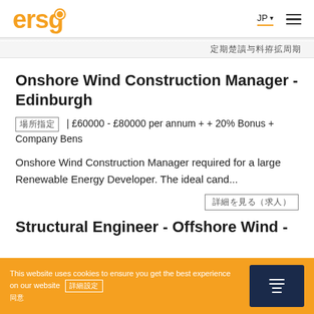ersg | JP ▾ ☰
■■■■■■■■■■
Onshore Wind Construction Manager - Edinburgh
■■■■■■ | £60000 - £80000 per annum + + 20% Bonus + Company Bens
Onshore Wind Construction Manager required for a large Renewable Energy Developer. The ideal cand...
■■■■■■■■■■
Structural Engineer - Offshore Wind -
This website uses cookies to ensure you get the best experience on our website ■■■■■ ■